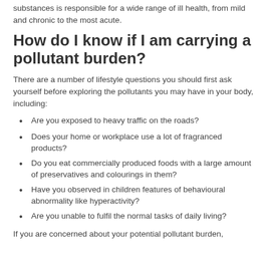substances is responsible for a wide range of ill health, from mild and chronic to the most acute.
How do I know if I am carrying a pollutant burden?
There are a number of lifestyle questions you should first ask yourself before exploring the pollutants you may have in your body, including:
Are you exposed to heavy traffic on the roads?
Does your home or workplace use a lot of fragranced products?
Do you eat commercially produced foods with a large amount of preservatives and colourings in them?
Have you observed in children features of behavioural abnormality like hyperactivity?
Are you unable to fulfil the normal tasks of daily living?
If you are concerned about your potential pollutant burden,